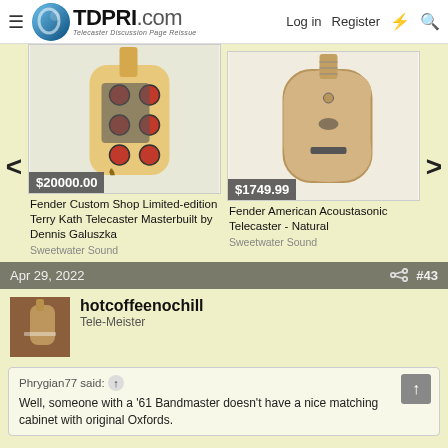TDPRI.com - Telecaster Discussion Page Reissue | Log in | Register
[Figure (photo): Product listing: Fender Custom Shop Limited-edition Terry Kath Telecaster Masterbuilt by Dennis Galuszka, priced at $20000.00, sold by Sweetwater Sound]
[Figure (photo): Product listing: Fender American Acoustasonic Telecaster - Natural, priced at $1749.99, sold by Sweetwater Sound]
Fender Custom Shop Limited-edition Terry Kath Telecaster Masterbuilt by Dennis Galuszka
Sweetwater Sound
Fender American Acoustasonic Telecaster - Natural
Sweetwater Sound
Apr 29, 2022  #43
hotcoffeenochill
Tele-Meister
Phrygian77 said:
Well, someone with a '61 Bandmaster doesn't have a nice matching cabinet with original Oxfords.